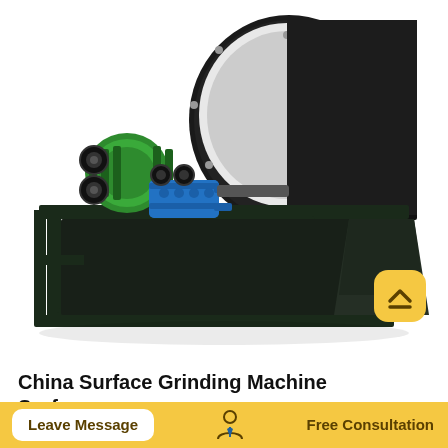[Figure (photo): A large industrial magnetic separator / surface grinding machine with a black cylindrical drum, green and blue motor drives on the left side, mounted on a dark steel frame structure with a collection hopper beneath.]
China Surface Grinding Machine Surface Grinding Machine
Leave Message
Free Consultation